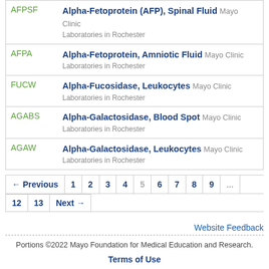| Code | Test Name |
| --- | --- |
| AFPSF | Alpha-Fetoprotein (AFP), Spinal Fluid Mayo Clinic Laboratories in Rochester |
| AFPA | Alpha-Fetoprotein, Amniotic Fluid Mayo Clinic Laboratories in Rochester |
| FUCW | Alpha-Fucosidase, Leukocytes Mayo Clinic Laboratories in Rochester |
| AGABS | Alpha-Galactosidase, Blood Spot Mayo Clinic Laboratories in Rochester |
| AGAW | Alpha-Galactosidase, Leukocytes Mayo Clinic Laboratories in Rochester |
← Previous 1 2 3 4 5 6 7 8 9 ... 12 13 Next →
Website Feedback
Portions ©2022 Mayo Foundation for Medical Education and Research.
Terms of Use